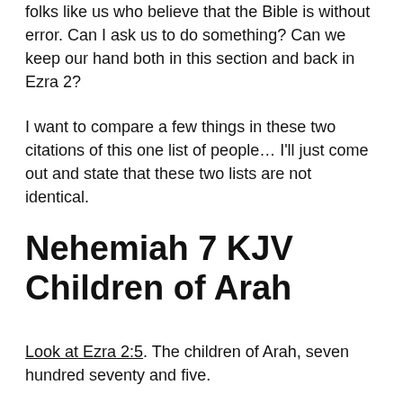folks like us who believe that the Bible is without error. Can I ask us to do something? Can we keep our hand both in this section and back in Ezra 2?
I want to compare a few things in these two citations of this one list of people… I'll just come out and state that these two lists are not identical.
Nehemiah 7 KJV Children of Arah
Look at Ezra 2:5. The children of Arah, seven hundred seventy and five.
And now look at Nehemiah 7:10. The children of Arah, six hundred fifty and two.
Well, which is it? How many of the children of Arah came?